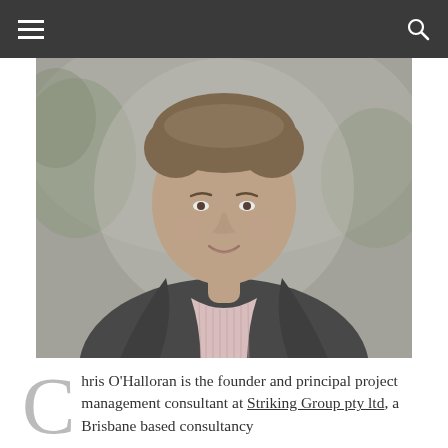Navigation bar with hamburger menu, share icon, and search icon
[Figure (photo): Professional headshot of Chris O'Halloran, a man in a dark blazer and pink striped shirt, smiling, with blurred outdoor greenery in the background. Image has a slightly faded/grey tone.]
Chris O'Halloran is the founder and principal project management consultant at Striking Group pty ltd, a Brisbane based consultancy